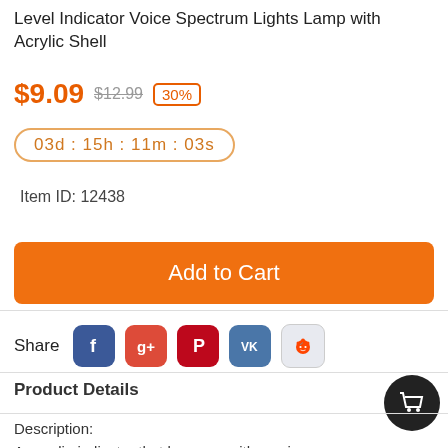Level Indicator Voice Spectrum Lights Lamp with Acrylic Shell
$9.09  $12.99  30%
03d : 15h : 11m : 03s
Item ID: 12438
Add to Cart
Share
Product Details
Description:
An audio indicator that bounces with music.
Parameter: